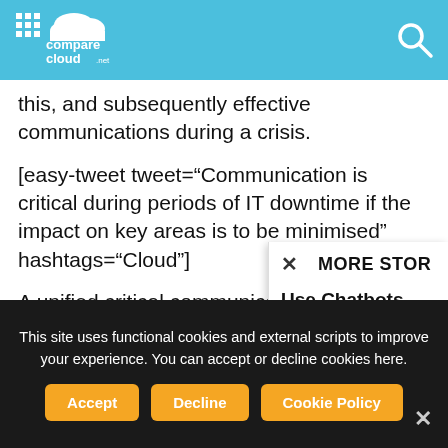comparecloud.net
this, and subsequently effective communications during a crisis.
[easy-tweet tweet="Communication is critical during periods of IT downtime if the impact on key areas is to be minimised" hashtags="Cloud"]
A unified critical communications system needs to be easily adaptable to effectively manage employees and stakeholders are businesses need the ability to co information to a wide range of in
[Figure (screenshot): More stories popup with close X button and article link 'Use Chatbots Realistically Or Risk Turning Off Your']
This site uses functional cookies and external scripts to improve your experience. You can accept or decline cookies here.